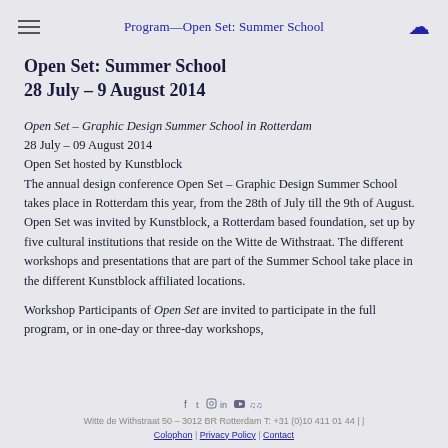Program—Open Set: Summer School
Open Set: Summer School
28 July – 9 August 2014
Open Set – Graphic Design Summer School in Rotterdam
28 July – 09 August 2014
Open Set hosted by Kunstblock
The annual design conference Open Set – Graphic Design Summer School takes place in Rotterdam this year, from the 28th of July till the 9th of August. Open Set was invited by Kunstblock, a Rotterdam based foundation, set up by five cultural institutions that reside on the Witte de Withstraat. The different workshops and presentations that are part of the Summer School take place in the different Kunstblock affiliated locations.
Workshop Participants of Open Set are invited to participate in the full program, or in one-day or three-day workshops,
Witte de Withstraat 50 – 3012 BR Rotterdam T: +31 (0)10 411 01 44 | | Colophon | Privacy Policy | Contact